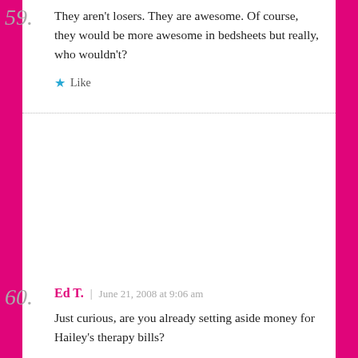59.
They aren't losers. They are awesome. Of course, they would be more awesome in bedsheets but really, who wouldn't?
Like
60.
Ed T. | June 21, 2008 at 9:06 am
Just curious, are you already setting aside money for Hailey's therapy bills?
~EdT.
Ed T.'s last blog post..Wordless Wednesday: Elementals
Like